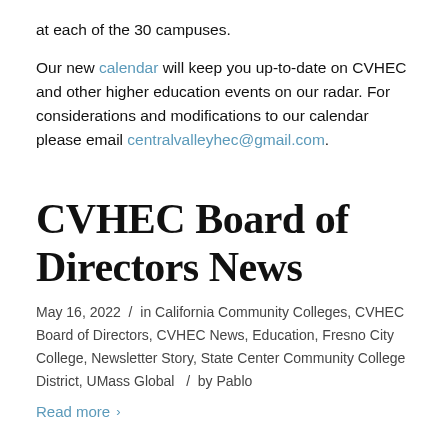at each of the 30 campuses.
Our new calendar will keep you up-to-date on CVHEC and other higher education events on our radar. For considerations and modifications to our calendar please email centralvalleyhec@gmail.com.
CVHEC Board of Directors News
May 16, 2022  /  in California Community Colleges, CVHEC Board of Directors, CVHEC News, Education, Fresno City College, Newsletter Story, State Center Community College District, UMass Global   /  by Pablo
Read more >